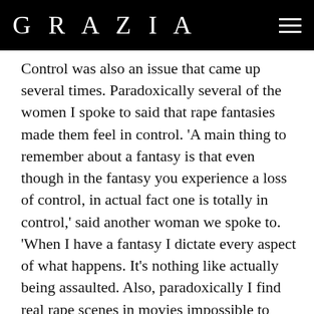GRAZIA
Control was also an issue that came up several times. Paradoxically several of the women I spoke to said that rape fantasies made them feel in control. 'A main thing to remember about a fantasy is that even though in the fantasy you experience a loss of control, in actual fact one is totally in control,' said another woman we spoke to. 'When I have a fantasy I dictate every aspect of what happens. It's nothing like actually being assaulted. Also, paradoxically I find real rape scenes in movies impossible to watch. They disturb me to a huge degree. I also don't act out any of these fantasies with my husband. I don't